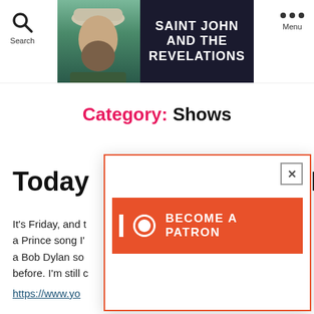Search | SAINT JOHN AND THE REVELATIONS | Menu
Category: Shows
Today Prince Song Day
It's Friday, and t a Prince song I' a Bob Dylan so before. I'm still c
https://www.yo
[Figure (screenshot): Patreon popup overlay with orange 'BECOME A PATRON' button and X close button]